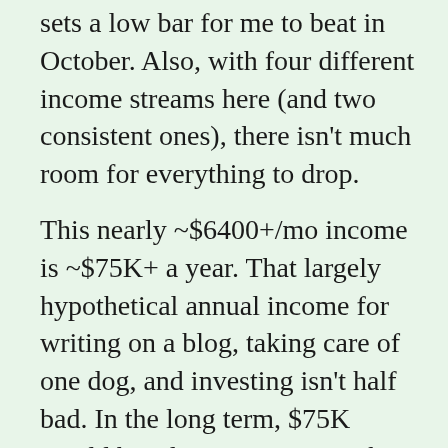sets a low bar for me to beat in October. Also, with four different income streams here (and two consistent ones), there isn't much room for everything to drop.
This nearly ~$6400+/mo income is ~$75K+ a year. That largely hypothetical annual income for writing on a blog, taking care of one dog, and investing isn't half bad. In the long term, $75K would be a lot more income than we'd need – given our necessary expenses for the next 45 years. Of course, those necessary expenses aren't going to cover all our